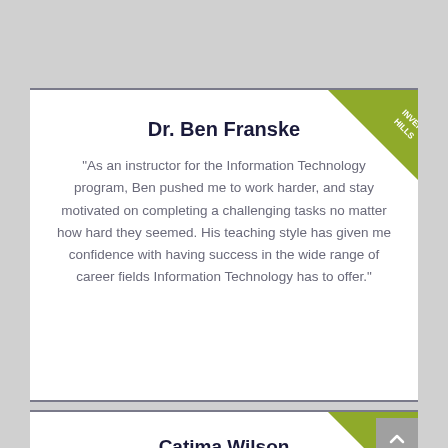Dr. Ben Franske
"As an instructor for the Information Technology program, Ben pushed me to work harder, and stay motivated on completing a challenging tasks no matter how hard they seemed. His teaching style has given me confidence with having success in the wide range of career fields Information Technology has to offer."
Catima Wilson